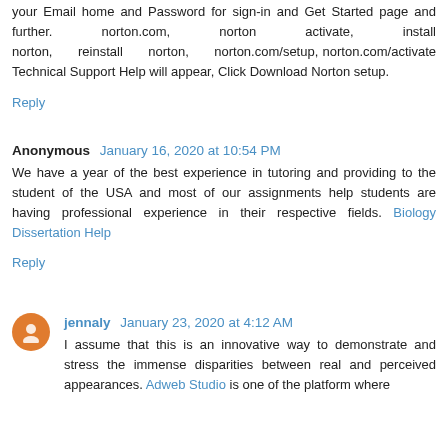your Email home and Password for sign-in and Get Started page and further. norton.com, norton activate, install norton, reinstall norton, norton.com/setup, norton.com/activate Technical Support Help will appear, Click Download Norton setup.
Reply
Anonymous  January 16, 2020 at 10:54 PM
We have a year of the best experience in tutoring and providing to the student of the USA and most of our assignments help students are having professional experience in their respective fields. Biology Dissertation Help
Reply
jennaly  January 23, 2020 at 4:12 AM
I assume that this is an innovative way to demonstrate and stress the immense disparities between real and perceived appearances. Adweb Studio is one of the platform where